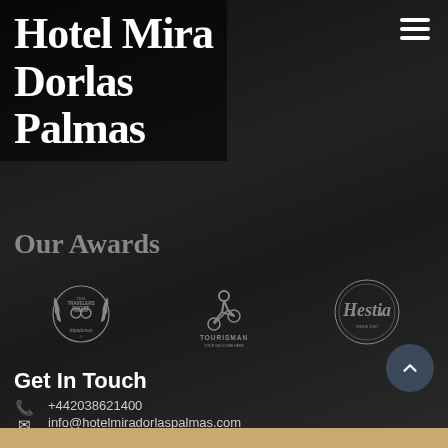Hotel Mira Dorlas Palmas
Our Awards
[Figure (logo): Three award logos: TripAdvisor Travelers Choice 2016, Tourisman logo, and Hestia logo, displayed in a row on dark background]
Get In Touch
+442038621400
info@hotelmiradorlaspalmas.com
Alphabeta Building, 18 Finsbury Square, London EC2A United Kingdom